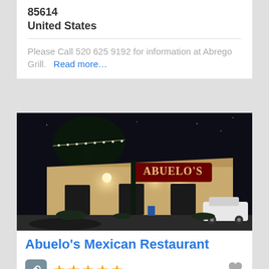85614
United States
Please Call 520 625 9192 for information at Abrego Grill.
Read more…
[Figure (photo): Night exterior photo of Abuelo's Mexican Restaurant building with illuminated sign and warm wall lighting]
Abuelo's Mexican Restaurant
5 star rating with link icon and heart/favorite icon